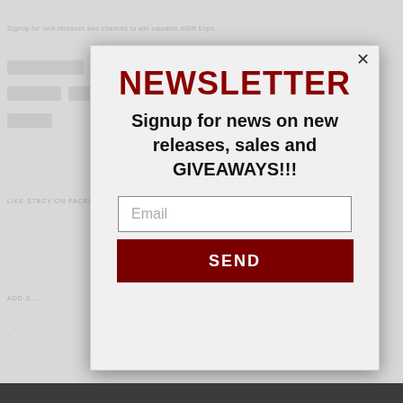NEWSLETTER
Signup for news on new releases, sales and GIVEAWAYS!!!
Email
SEND